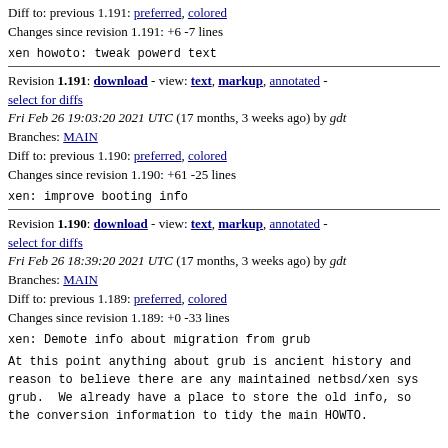Diff to: previous 1.191: preferred, colored
Changes since revision 1.191: +6 -7 lines
xen howoto: tweak powerd text
Revision 1.191: download - view: text, markup, annotated - select for diffs
Fri Feb 26 19:03:20 2021 UTC (17 months, 3 weeks ago) by gdt
Branches: MAIN
Diff to: previous 1.190: preferred, colored
Changes since revision 1.190: +61 -25 lines
xen: improve booting info
Revision 1.190: download - view: text, markup, annotated - select for diffs
Fri Feb 26 18:39:20 2021 UTC (17 months, 3 weeks ago) by gdt
Branches: MAIN
Diff to: previous 1.189: preferred, colored
Changes since revision 1.189: +0 -33 lines
xen: Demote info about migration from grub
At this point anything about grub is ancient history and reason to believe there are any maintained netbsd/xen sys grub. We already have a place to store the old info, so the conversion information to tidy the main HOWTO.